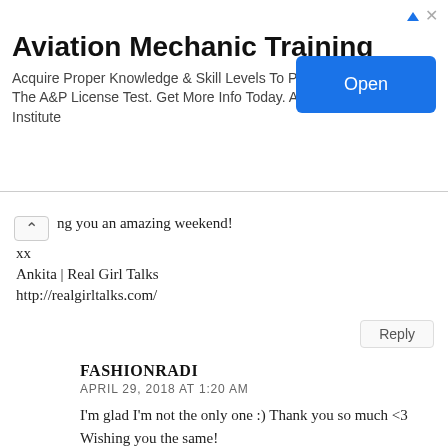[Figure (other): Advertisement banner for Aviation Mechanic Training by AIM Institute with an Open button]
ng you an amazing weekend!
xx
Ankita | Real Girl Talks
http://realgirltalks.com/
Reply
FASHIONRADI
APRIL 29, 2018 AT 1:20 AM
I'm glad I'm not the only one :) Thank you so much <3
Wishing you the same!
Reply
BELLEZZEFELICI
APRIL 20, 2018 AT 2:37 PM
Amazing outfit, Radi, love your blouse :)